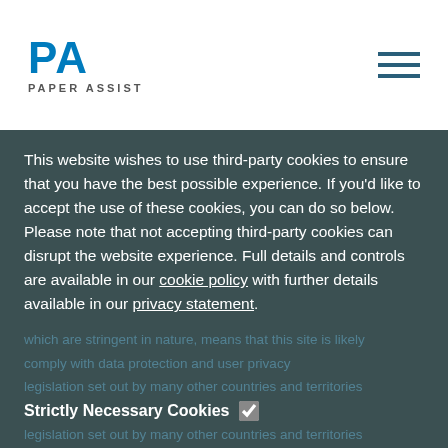[Figure (logo): Paper Assist logo with blue 'PA' letters and 'PAPER ASSIST' text below]
This website wishes to use third-party cookies to ensure that you have the best possible experience. If you'd like to accept the use of these cookies, you can do so below. Please note that not accepting third-party cookies can disrupt the website experience. Full details and controls are available in our cookie policy with further details available in our privacy statement.
Strictly Necessary Cookies (checked)
Analytics Cookies (unchecked)
Targeting Cookies (unchecked)
Accept Selected
Accept All